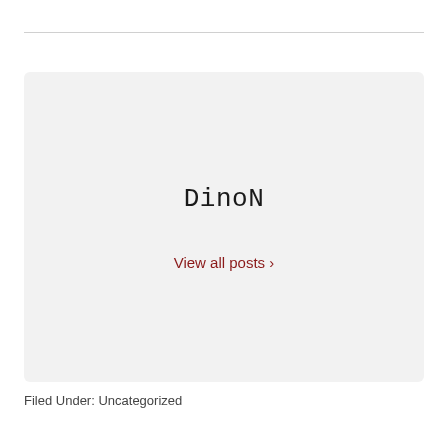[Figure (other): Author bio box with light gray background, displaying author name 'DinoN' in monospace font and a 'View all posts ›' link in dark red]
Filed Under: Uncategorized